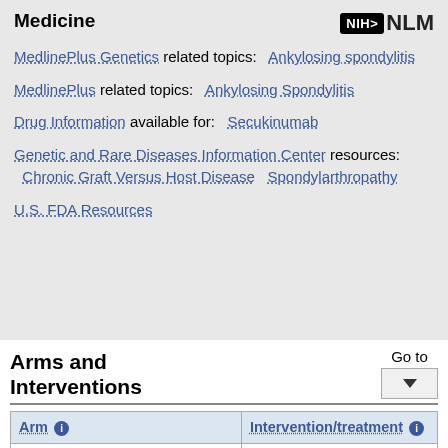Medicine
MedlinePlus Genetics related topics: Ankylosing spondylitis
MedlinePlus related topics: Ankylosing Spondylitis
Drug Information available for: Secukinumab
Genetic and Rare Diseases Information Center resources: Chronic Graft Versus Host Disease  Spondylarthropathy
U.S. FDA Resources
Arms and Interventions
| Arm | Intervention/treatment |
| --- | --- |
| Experimental: Secukinumab 75 mg | Drug: Secukinumab (75 mg)
Secukinumab 75 mg s.c. |